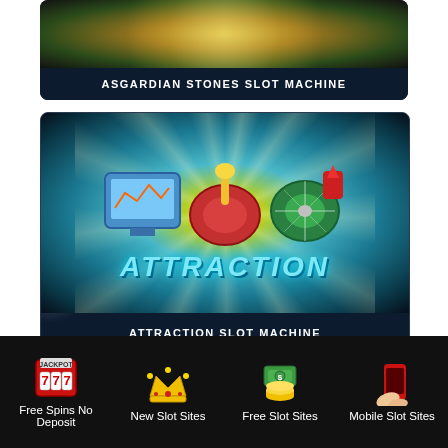[Figure (screenshot): Asgardian Stones slot machine game card with golden/dark background and starburst light effect]
ASGARDIAN STONES SLOT MACHINE
[Figure (screenshot): Attraction slot machine game card with teal/yellow starburst background and colorful slot machine icons, with ATTRACTION text in icy blue]
ATTRACTION SLOT MACHINE
Free Spins No Deposit
New Slot Sites
Free Slot Sites
Mobile Slot Sites